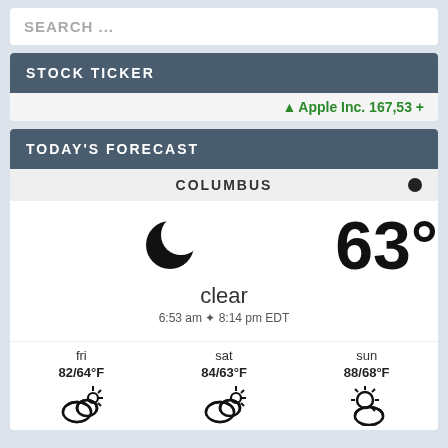SEARCH ...
STOCK TICKER
↑ Apple Inc. 167,53 +
TODAY'S FORECAST
COLUMBUS
[Figure (infographic): Weather widget showing 63° clear, moon/partly clear icon, sunrise 6:53 am sunset 8:14 pm EDT, with forecast for fri 82/64°F, sat 84/63°F, sun 88/68°F with partly cloudy icons]